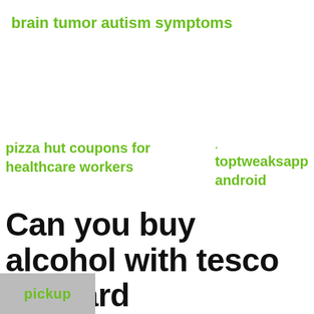brain tumor autism symptoms
pizza hut coupons for healthcare workers
toptweaksapp android
Can you buy alcohol with tesco gift card
Its easy to join and start enjoying the benefits of being a Clubcard member. Follow the link below, tell us what you like and how you would like to be contacted and we will send you your Clubcard. Once you have joined you can
toyota
pickup